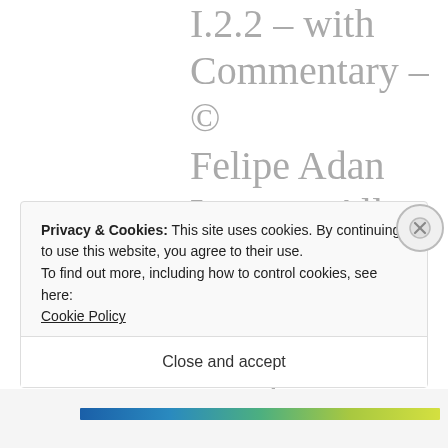I.2.2 – with Commentary – © Felipe Adan Lerma – All Rights Reserved – Blogging at WordPress Since 2011 :)
MAY 31, 2021 AT 10:00 PM
Privacy & Cookies: This site uses cookies. By continuing to use this website, you agree to their use.
To find out more, including how to control cookies, see here:
Cookie Policy
Close and accept